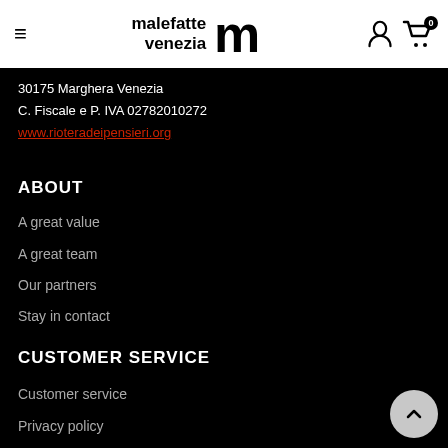malefatte venezia [logo]
30175 Marghera Venezia
C. Fiscale e P. IVA 02782010272
www.rioteradeipensieri.org
ABOUT
A great value
A great team
Our partners
Stay in contact
CUSTOMER SERVICE
Customer service
Privacy policy